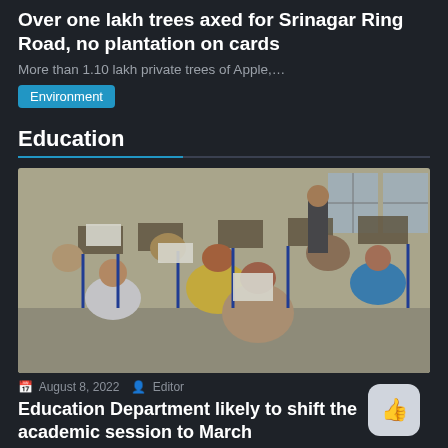Over one lakh trees axed for Srinagar Ring Road, no plantation on cards
More than 1.10 lakh private trees of Apple,...
Environment
Education
[Figure (photo): Students sitting at desks in an examination hall, writing exams. Several students wearing masks. A teacher stands at the back. The room has windows and blue-framed desks.]
August 8, 2022   Editor
Education Department likely to shift the academic session to March